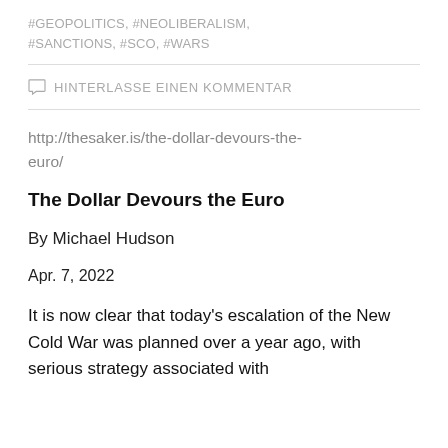#GEOPOLITICS, #NEOLIBERALISM, #SANCTIONS, #SCO, #WARS
HINTERLASSE EINEN KOMMENTAR
http://thesaker.is/the-dollar-devours-the-euro/
The Dollar Devours the Euro
By Michael Hudson
Apr. 7, 2022
It is now clear that today's escalation of the New Cold War was planned over a year ago, with serious strategy associated with